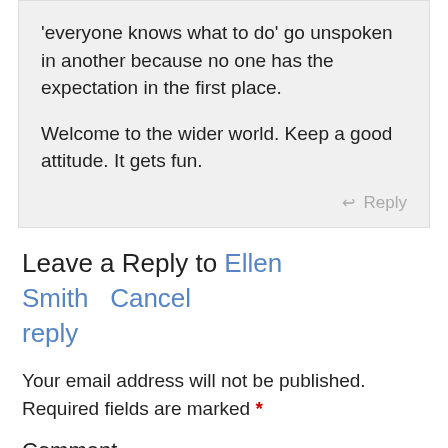'everyone knows what to do' go unspoken in another because no one has the expectation in the first place.

Welcome to the wider world. Keep a good attitude. It gets fun.
↩ Reply
Leave a Reply to Ellen Smith   Cancel reply
Your email address will not be published. Required fields are marked *
Comment